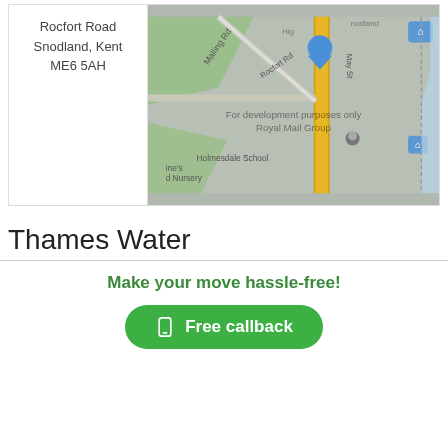Rocfort Road
Snodland, Kent
ME6 5AH
[Figure (map): Google Map screenshot showing Rocfort Road area in Snodland, Kent. Shows street map with Malling Rd, Rocfort Rd, May St, a yellow road (High Street), blue location pin, Royal Mail Group marker, Holmesdale School, and a nursery. Watermark reads 'For development purposes only Royal Mail Group'.]
Thames Water
Make your move hassle-free!
Free callback